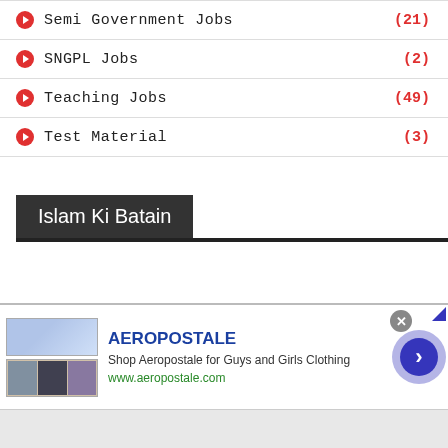Semi Government Jobs (21)
SNGPL Jobs (2)
Teaching Jobs (49)
Test Material (3)
Islam Ki Batain
[Figure (screenshot): Infolinks advertisement banner for Aeropostale with brand name, description 'Shop Aeropostale for Guys and Girls Clothing', URL www.aeropostale.com, clothing images, close button and navigation arrow]